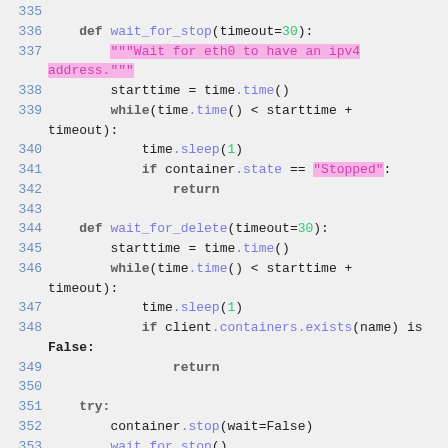[Figure (screenshot): Python source code snippet showing lines 335-355. Functions wait_for_stop and wait_for_delete are defined, followed by a try/except block. Code uses highlighted strings (pink background) for docstring and 'Stopped' string literal.]